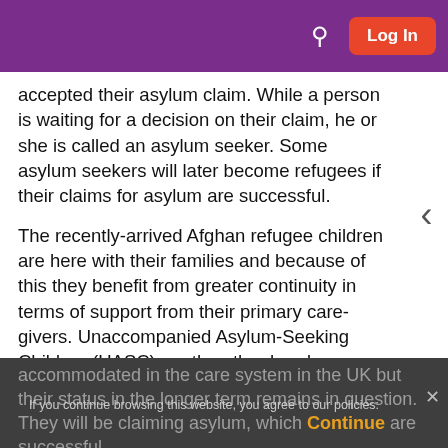Log In
accepted their asylum claim. While a person is waiting for a decision on their claim, he or she is called an asylum seeker. Some asylum seekers will later become refugees if their claims for asylum are successful.
The recently-arrived Afghan refugee children are here with their families and because of this they benefit from greater continuity in terms of support from their primary care-givers. Unaccompanied Asylum-Seeking Children (UASC), on the other hand, are minors who are here on their own and therefore don't have the support of their close families. UASC are accommodated in the care system in the UK but their status in the longer term remains in question. They will be claiming asylum, which if they are successful – will give them indefinite leave to
If you continue browsing this website, you agree to our policies:
Continue